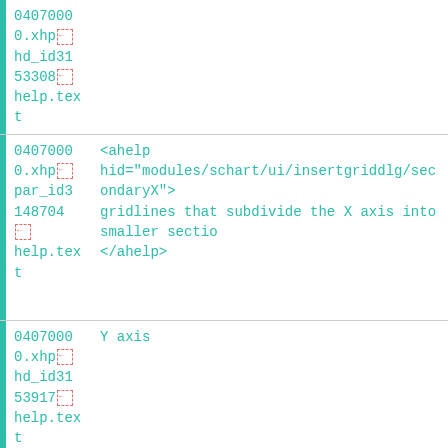| 0407000
0.xhp
hd_id31
53308
help.tex
t |  |
| 0407000
0.xhp
par_id3
148704
help.tex
t | <ahelp
hid="modules/schart/ui/insertgriddlg/secondaryX">
gridlines that subdivide the X axis into smaller sectio
</ahelp> |
| 0407000
0.xhp
hd_id31
53917
help.tex
t | Y axis |